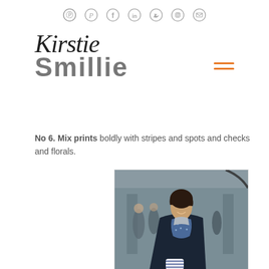Social media icons: Pinterest, Facebook, LinkedIn, Twitter, Instagram, Email
Kirstie Smillie
No 6. Mix prints boldly with stripes and spots and checks and florals.
[Figure (photo): Street style photo of a smiling woman with short dark hair wearing a navy blazer, blue polka-dot scarf, and holding striped gloves, photographed outdoors with people in background]